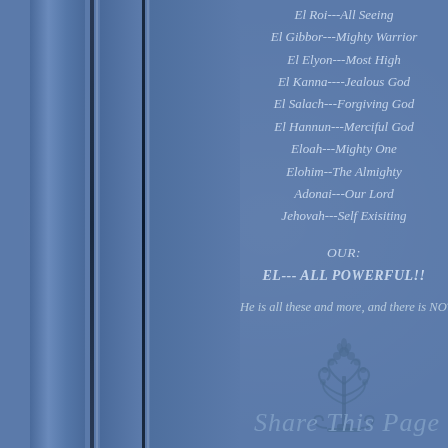El Roi---All Seeing
El Gibbor---Mighty Warrior
El Elyon---Most High
El Kanna----Jealous God
El Salach---Forgiving God
El Hannun---Merciful God
Eloah---Mighty One
Elohim--The Almighty
Adonai---Our Lord
Jehovah---Self Exisiting
OUR:
EL--- ALL POWERFUL!!
He is all these and more, and there is NOTHING He ca
[Figure (illustration): Decorative emblem/ornament resembling a menorah or tree with scrollwork]
Share This Page